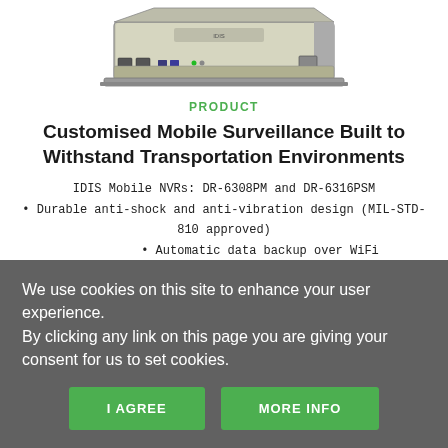[Figure (photo): Photo of IDIS Mobile NVR device, a rectangular silver/grey hardware unit viewed from above at an angle, showing ports and connectors on the front.]
PRODUCT
Customised Mobile Surveillance Built to Withstand Transportation Environments
IDIS Mobile NVRs: DR-6308PM and DR-6316PSM
• Durable anti-shock and anti-vibration design (MIL-STD-810 approved)
• Automatic data backup over WiFi
• 3-axis accelerometer for detecting emergency stop
We use cookies on this site to enhance your user experience.
By clicking any link on this page you are giving your consent for us to set cookies.
I AGREE
MORE INFO